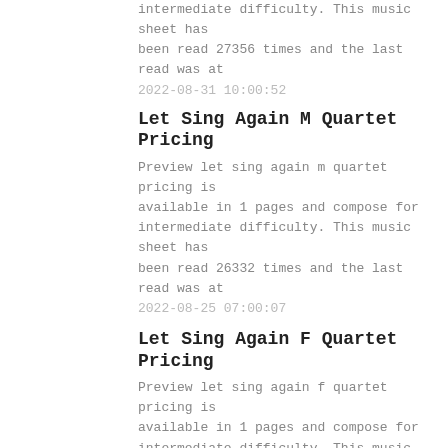intermediate difficulty. This music sheet has been read 27356 times and the last read was at 2022-08-31 10:00:52
Let Sing Again M Quartet Pricing
Preview let sing again m quartet pricing is available in 1 pages and compose for intermediate difficulty. This music sheet has been read 26332 times and the last read was at 2022-08-25 07:00:07
Let Sing Again F Quartet Pricing
Preview let sing again f quartet pricing is available in 1 pages and compose for intermediate difficulty. This music sheet has been read 28120 times and the last read was at 2022-08-31 10:10:51
Fit As A Fiddle F Quartet Pricing
Preview fit as a fiddle f quartet pricing is available in 3 pages and compose for advanced difficulty. This music sheet has been read 27592 times and the last read was at 2022-08-30 10:00:01
Via Dolorosa Quartet Pricing
Preview via dolorosa quartet pricing is available in 3 pages and compose for advanced difficulty. This music sheet has been read 31540 times and the last read was at 2022-08-31 17:44:14